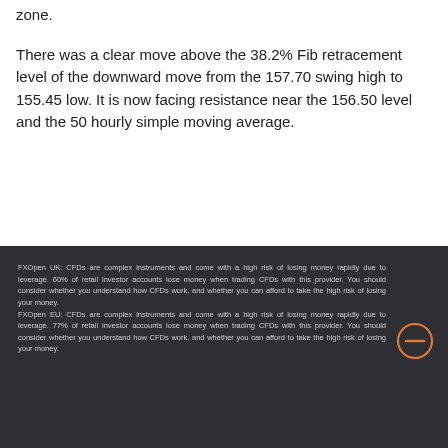zone.
There was a clear move above the 38.2% Fib retracement level of the downward move from the 157.70 swing high to 155.45 low. It is now facing resistance near the 156.50 level and the 50 hourly simple moving average.
FXOpen UK: CFDs are complex instruments and come with a high risk of losing money rapidly due to leverage. 60% of retail investor accounts lose money when trading CFDs with this provider. You should consider whether you understand how CFDs work, and whether you can afford to take the high risk of losing your money. FXOpen EU: CFDs are complex instruments and come with a high risk of losing money rapidly due to leverage. 77% of retail investor accounts lose money when trading CFDs with this provider. You should consider whether you understand how CFDs work, and whether you can afford to take the high risk of losing your money.